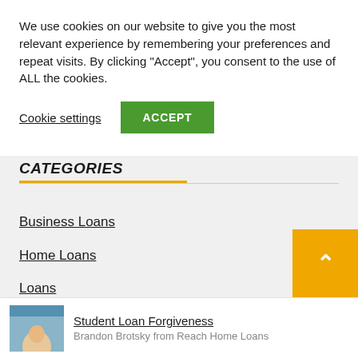We use cookies on our website to give you the most relevant experience by remembering your preferences and repeat visits. By clicking “Accept”, you consent to the use of ALL the cookies.
Cookie settings
ACCEPT
CATEGORIES
Business Loans
Home Loans
Loans
Other Country Loans
Personal finance
Student Loan Forgiveness
Brandon Brotsky from Reach Home Loans